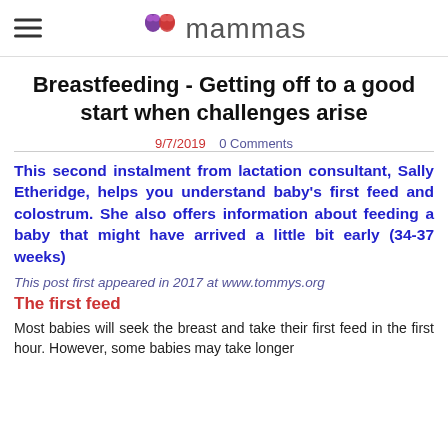mammas
Breastfeeding - Getting off to a good start when challenges arise
9/7/2019  0 Comments
This second instalment from lactation consultant, Sally Etheridge, helps you understand baby's first feed and colostrum. She also offers information about feeding a baby that might have arrived a little bit early (34-37 weeks)
This post first appeared in 2017 at www.tommys.org
The first feed
Most babies will seek the breast and take their first feed in the first hour. However, some babies may take longer